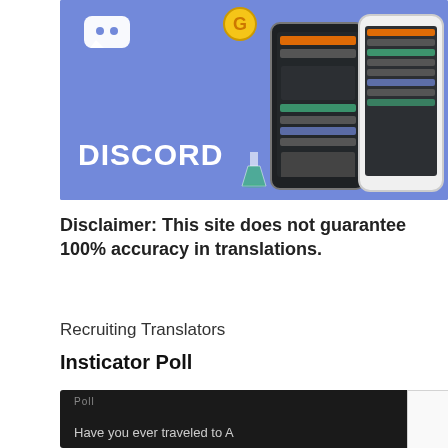[Figure (illustration): Discord promotional banner with purple/blue background showing the Discord logo text and icon, two smartphone mockups displaying the Discord app interface, a gold coin, and a flask/beaker illustration.]
Disclaimer: This site does not guarantee 100% accuracy in translations.
Recruiting Translators
Insticator Poll
[Figure (screenshot): Dark poll widget showing 'Poll' label and partial question text 'Have you ever traveled to A...' with a video overlay showing a loading spinner and close button X.]